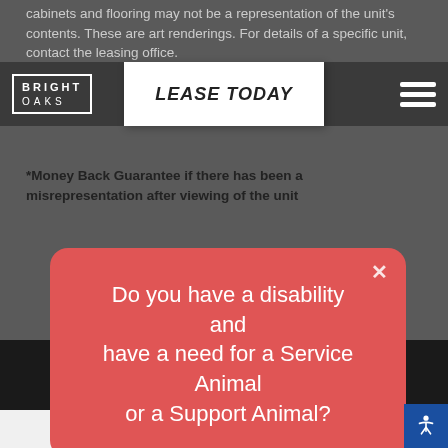BRIGHT OAKS
cabinets and flooring may not be a representation of the unit's contents. These are art renderings. For details of a specific unit, contact the leasing office.
*Money Back Guarantee if there has been a misrepresentation after viewing of the unit
[Figure (screenshot): Red modal dialog overlay on apartment leasing website asking 'Do you have a disability and have a need for a Service Animal or a Support Animal?']
Do you have a disability and have a need for a Service Animal or a Support Animal?